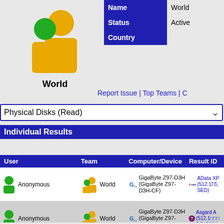[Figure (illustration): World avatar icon with two overlapping person silhouettes in gold/yellow on gray background]
World
| Name | World | Status | Active | Country |  |
| --- | --- | --- | --- | --- | --- |
Report Issue | Top Teams | C
Physical Disks (Read)
Individual Results
| User | Team | Computer/Device | Result ID |
| --- | --- | --- | --- |
| Anonymous | World | GigaByte Z97-D3H (GigaByte Z97-D3H-CF) | AData XP (512.1Гб, SED) |
| Anonymous | World | GigaByte Z97-D3H (GigaByte Z97-D3H-CF) | Asgard A (512.1□□□ 2/3x2/NV |
| Anonymous | World | GigaByte Z97-D3H (GigaByte Z97-D3H-CF) | Corsair F SATA600 |
| Anonymous | World | GigaByte Z97-D3H (GigaByte Z97-D3H-CF) | Corsair F PCIe2/3x |
| Anonymous | World | GigaByte Z97-D3H (GigaByte Z97-D3H-CF) | Hitachi H (2Тб, SAT |
| Anonymous | World | GigaByte Z97-D3H (GigaByte Z97-D3H-CF) | Maxtor M STM350 |